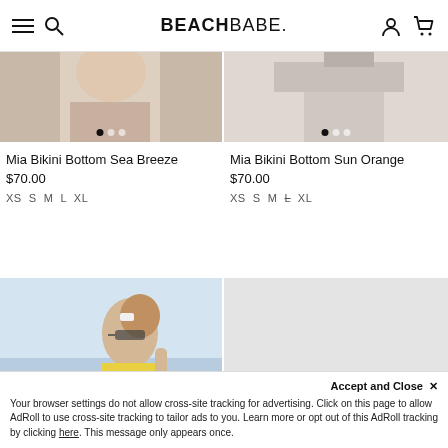BEACHBABE.
Mia Bikini Bottom Sea Breeze
$70.00
XS S M L XL
Mia Bikini Bottom Sun Orange
$70.00
XS S M L XL
[Figure (photo): Woman in yellow bikini top near water]
[Figure (photo): Gray placeholder with chat widget]
Accept and Close ✕
Your browser settings do not allow cross-site tracking for advertising. Click on this page to allow AdRoll to use cross-site tracking to tailor ads to you. Learn more or opt out of this AdRoll tracking by clicking here. This message only appears once.